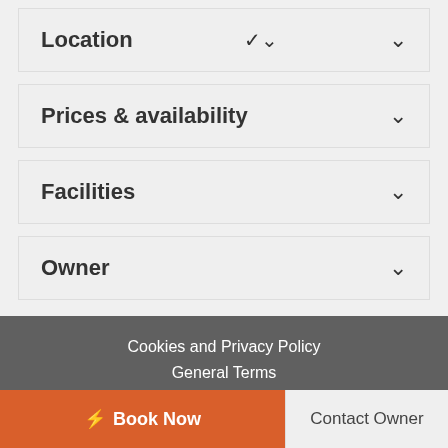Location
Prices & availability
Facilities
Owner
Cookies and Privacy Policy
General Terms
Powered by rental systems
⚡ Book Now
Contact Owner